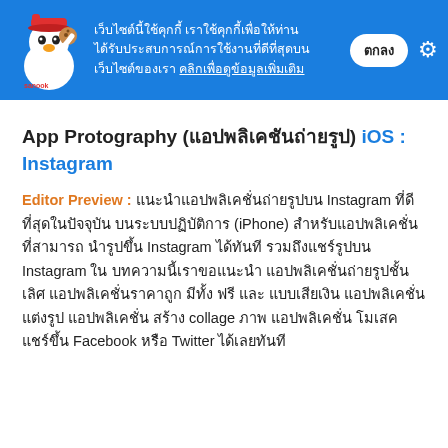[Figure (screenshot): Blue cookie consent banner with a Sanook mascot (chicken in red cap), Thai text about cookie usage, a confirmation button labeled 'ตกลง', and a gear/settings icon.]
App Protography (แอปพลิเคชันถ่ายรูป) iOS : Instagram
Editor Preview : แนะนำแอปพลิเคชั่นถ่ายรูปบน Instagram ที่ดีที่สุดในปัจจุบัน บนระบบปฏิบัติการ (iPhone) สำหรับแอปพลิเคชั่น ที่สามารถนำรูปขึ้น Instagram ได้ทันที รวมถึงแชร์รูปบน Instagram ใน บทความนี้เราขอแนะนำ แอปพลิเคชั่นถ่ายรูปชั้นเลิศ แอปพลิเคชั่นราคาถูก มีทั้ง ฟรี และ แบบเสียเงิน แอปพลิเคชั่นแต่งรูป แอปพลิเคชั่น สร้าง collage ภาพ แอปพลิเคชั่น โมเสค แชร์ขึ้น Facebook หรือ Twitter ได้เลยทันที